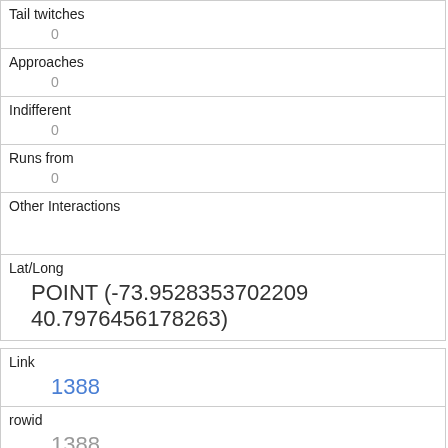| Field | Value |
| --- | --- |
| Tail twitches | 0 |
| Approaches | 0 |
| Indifferent | 0 |
| Runs from | 0 |
| Other Interactions |  |
| Lat/Long | POINT (-73.9528353702209 40.7976456178263) |
| Field | Value |
| --- | --- |
| Link | 1388 |
| rowid | 1388 |
| longitude | -73.9685709455958 |
| latitude | 40.7744977036596 |